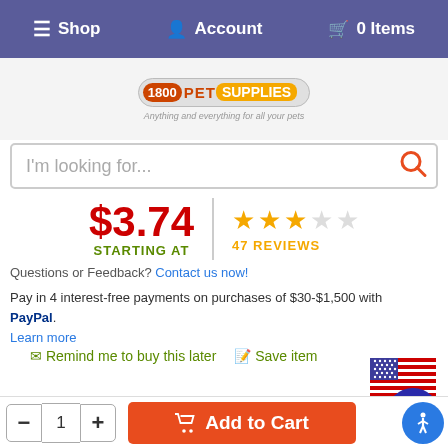Shop   Account   0 Items
[Figure (logo): 1800PetSupplies logo with tagline: Anything and everything for all your pets]
I'm looking for...
$3.74 STARTING AT
47 REVIEWS
Questions or Feedback? Contact us now!
Pay in 4 interest-free payments on purchases of $30-$1,500 with PayPal. Learn more
Remind me to buy this later   Save item
[Figure (photo): Made in USA flag badge]
By Continuing to use our site, you consent to our use of cookies to improve your experience. Learn more
- 1 + Add to Cart